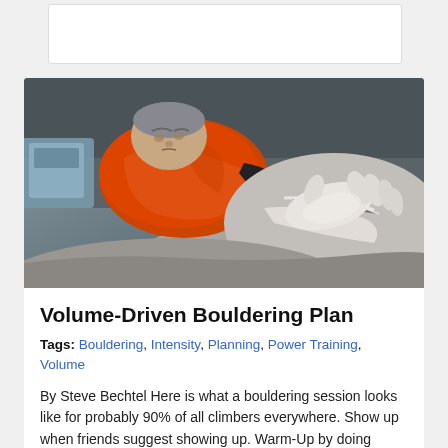[Figure (photo): A rock climber wearing an orange jacket pressing his chalked hand flat against a large grey boulder, concentrating intensely, photographed close-up outdoors.]
Volume-Driven Bouldering Plan
Tags: Bouldering, Intensity, Planning, Power Training, Volume
By Steve Bechtel Here is what a bouldering session looks like for probably 90% of all climbers everywhere. Show up when friends suggest showing up. Warm-Up by doing some "easy" problems. Start working some "hard" problems, rest